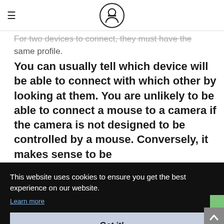[hamburger menu] [site logo icon]
For two devices to connect, they must have the same profile.
You can usually tell which device will be able to connect with which other by looking at them. You are unlikely to be able to connect a mouse to a camera if the camera is not designed to be controlled by a mouse. Conversely, it makes sense to be
This website uses cookies to ensure you get the best experience on our website.
Learn more
Got it!
[Figure (other): Partial view of a diagram at the bottom of the page, showing connected device icons on a light green background]